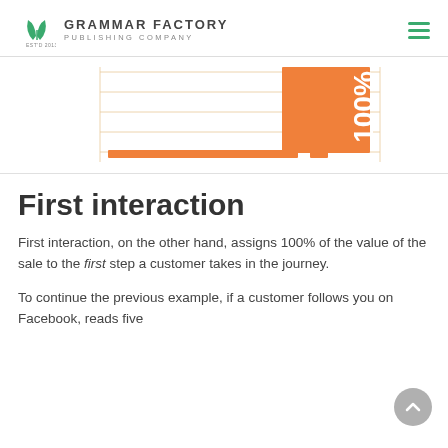Grammar Factory Publishing Company
[Figure (bar-chart): Horizontal bar chart showing 100% value, with an orange bar and the label '100%' displayed vertically on the bar. Partial view of a bar chart cropped at the top of the content area.]
First interaction
First interaction, on the other hand, assigns 100% of the value of the sale to the first step a customer takes in the journey.
To continue the previous example, if a customer follows you on Facebook, reads five